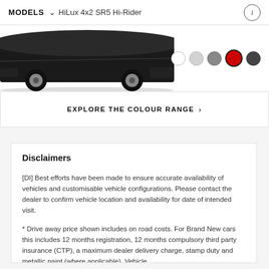MODELS  HiLux 4x2 SR5 Hi-Rider
[Figure (photo): Partial view of a Toyota HiLux vehicle (lower rear quarter) in black, with colour selector circles showing white, light gray, gray, red (selected), and dark gray options.]
EXPLORE THE COLOUR RANGE >
Disclaimers
[DI] Best efforts have been made to ensure accurate availability of vehicles and customisable vehicle configurations. Please contact the dealer to confirm vehicle location and availability for date of intended visit.
* Drive away price shown includes on road costs. For Brand New cars this includes 12 months registration, 12 months compulsory third party insurance (CTP), a maximum dealer delivery charge, stamp duty and metallic paint (where applicable). Vehicle